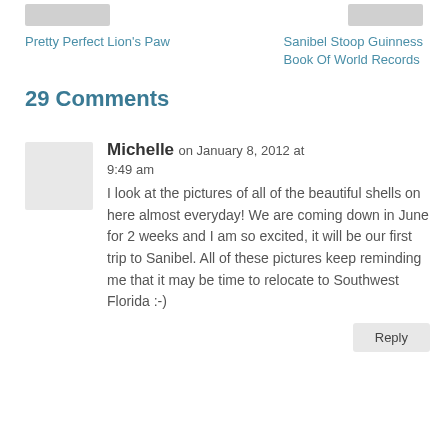[Figure (photo): Thumbnail image placeholder on the left side of navigation]
Pretty Perfect Lion's Paw
[Figure (photo): Thumbnail image placeholder on the right side of navigation]
Sanibel Stoop Guinness Book Of World Records
29 Comments
Michelle on January 8, 2012 at 9:49 am
I look at the pictures of all of the beautiful shells on here almost everyday! We are coming down in June for 2 weeks and I am so excited, it will be our first trip to Sanibel. All of these pictures keep reminding me that it may be time to relocate to Southwest Florida :-)
Reply